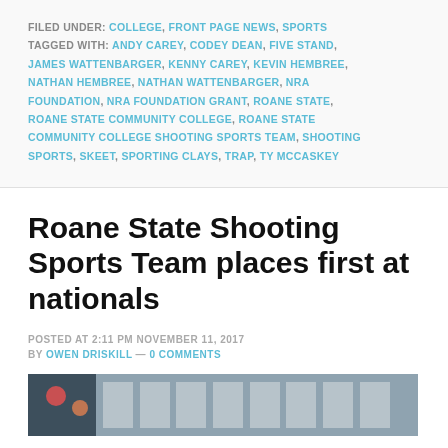FILED UNDER: COLLEGE, FRONT PAGE NEWS, SPORTS
TAGGED WITH: ANDY CAREY, CODEY DEAN, FIVE STAND, JAMES WATTENBARGER, KENNY CAREY, KEVIN HEMBREE, NATHAN HEMBREE, NATHAN WATTENBARGER, NRA FOUNDATION, NRA FOUNDATION GRANT, ROANE STATE, ROANE STATE COMMUNITY COLLEGE, ROANE STATE COMMUNITY COLLEGE SHOOTING SPORTS TEAM, SHOOTING SPORTS, SKEET, SPORTING CLAYS, TRAP, TY MCCASKEY
Roane State Shooting Sports Team places first at nationals
POSTED AT 2:11 PM NOVEMBER 11, 2017
BY OWEN DRISKILL — 0 COMMENTS
[Figure (photo): Partial photo visible at bottom of page showing people at what appears to be an indoor event or ceremony with papers/documents on a wall in the background]